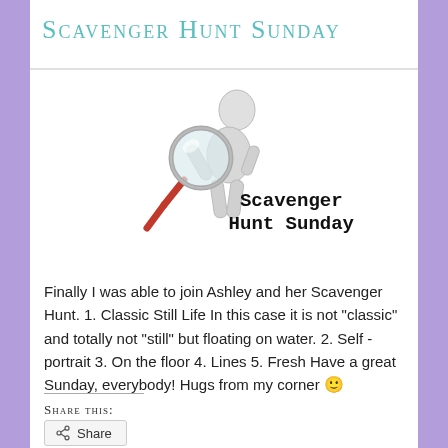Scavenger Hunt Sunday
[Figure (illustration): A white 3D figurine holding a magnifying glass with red handle, with text 'Scavenger Hunt Sunday' in bold serif font beside it]
Finally I was able to join Ashley and her Scavenger Hunt. 1. Classic Still Life In this case it is not "classic" and totally not "still" but floating on water. 2. Self - portrait 3. On the floor 4. Lines 5. Fresh Have a great Sunday, everybody! Hugs from my corner 🙂
Share this:
Share